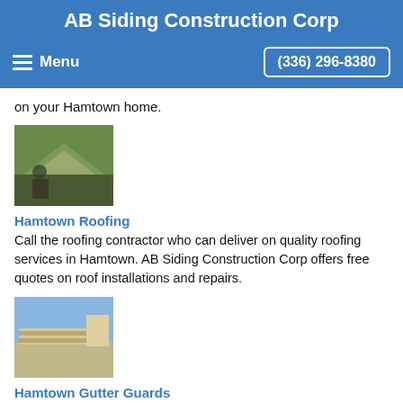AB Siding Construction Corp
Menu   (336) 296-8380
on your Hamtown home.
[Figure (photo): Photo of roofing work on a house]
Hamtown Roofing
Call the roofing contractor who can deliver on quality roofing services in Hamtown. AB Siding Construction Corp offers free quotes on roof installations and repairs.
[Figure (photo): Photo of gutter guards on a house]
Hamtown Gutter Guards
For gutter guard installation in Hamtown, North Carolina, call the local pros at AB Siding Construction Corp for a free estimate: (336) 296-8380.